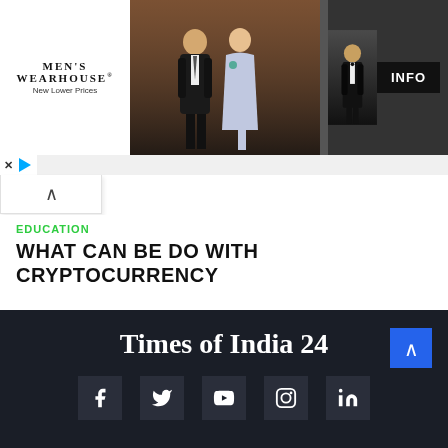[Figure (photo): Men's Wearhouse advertisement banner showing a couple in formal wear and a man in a tuxedo, with INFO button on right]
EDUCATION
WHAT CAN BE DO WITH CRYPTOCURRENCY
Times of India 24
Top News in India: Read Latest News on Sports, Business, Entertainment, Blogs and Opinions from leading columnists. Times of India brings the Breaking News and Latest News Headlines from India and around the World.News, Breaking news, Latest news, Live news, Today news, News Today, India news, English news, Politics news, Top news in India.
[Figure (other): Social media icons row: Facebook, Twitter, YouTube, Instagram, LinkedIn]